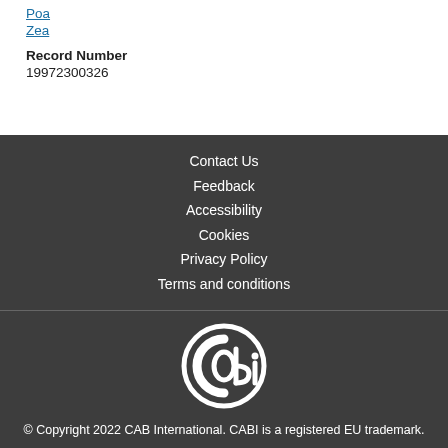Poa
Zea
Record Number
19972300326
Contact Us
Feedback
Accessibility
Cookies
Privacy Policy
Terms and conditions
© Copyright 2022 CAB International. CABI is a registered EU trademark.